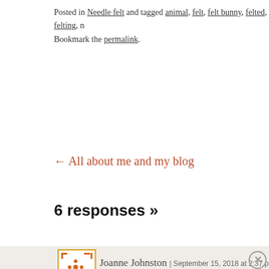Posted in Needle felt and tagged animal, felt, felt bunny, felted, felting, n... Bookmark the permalink.
← All about me and my blog
6 responses »
Joanne Johnston | September 15, 2018 at 2:37 pm
Advertisements
[Figure (screenshot): DuckDuckGo advertisement banner: orange background with text 'Search, browse, and email with more privacy. All in One Free App' with a phone showing DuckDuckGo app and logo.]